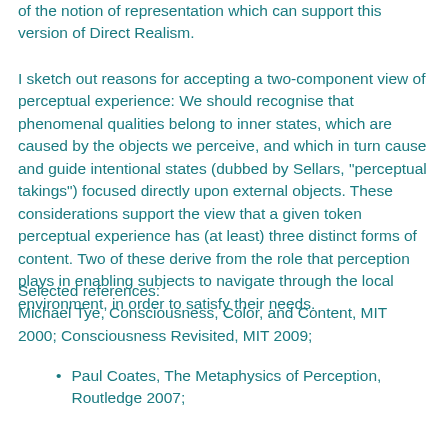of the notion of representation which can support this version of Direct Realism.
I sketch out reasons for accepting a two-component view of perceptual experience: We should recognise that phenomenal qualities belong to inner states, which are caused by the objects we perceive, and which in turn cause and guide intentional states (dubbed by Sellars, "perceptual takings") focused directly upon external objects. These considerations support the view that a given token perceptual experience has (at least) three distinct forms of content. Two of these derive from the role that perception plays in enabling subjects to navigate through the local environment, in order to satisfy their needs.
Selected references:
Michael Tye, Consciousness, Color, and Content, MIT 2000; Consciousness Revisited, MIT 2009;
Paul Coates, The Metaphysics of Perception, Routledge 2007;